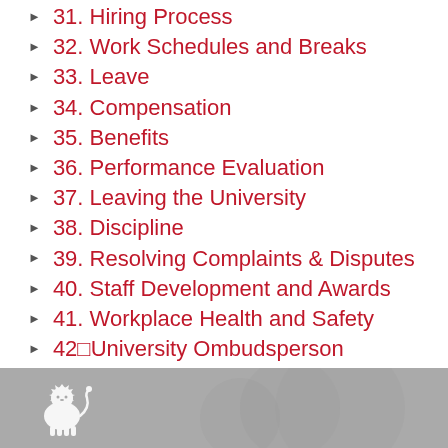31. Hiring Process
32. Work Schedules and Breaks
33. Leave
34. Compensation
35. Benefits
36. Performance Evaluation
37. Leaving the University
38. Discipline
39. Resolving Complaints & Disputes
40. Staff Development and Awards
41. Workplace Health and Safety
42. University Ombudsperson
43. OIST University Press
[Figure (logo): OIST university logo in white on grey footer background]